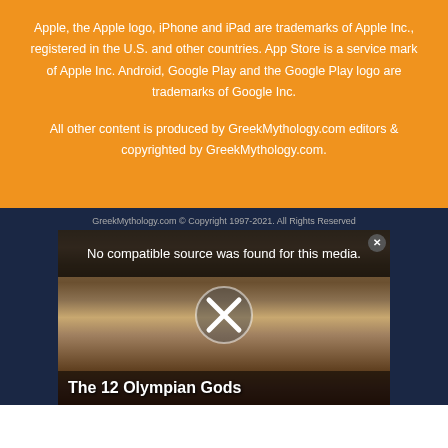Apple, the Apple logo, iPhone and iPad are trademarks of Apple Inc., registered in the U.S. and other countries. App Store is a service mark of Apple Inc. Android, Google Play and the Google Play logo are trademarks of Google Inc.
All other content is produced by GreekMythology.com editors & copyrighted by GreekMythology.com.
GreekMythology.com © Copyright 1997-2021. All Rights Reserved
[Figure (screenshot): Video player showing 'The 12 Olympian Gods' with an error message 'No compatible source was found for this media.' overlaid on a classical painting background. An X close button is visible in the top right corner.]